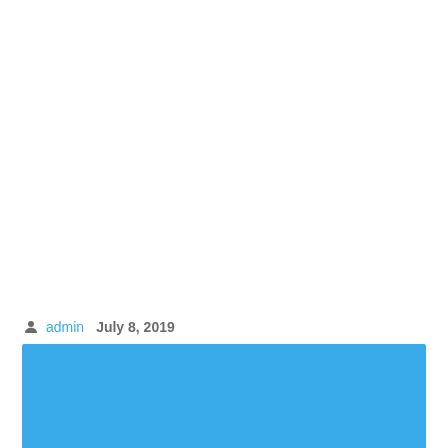admin   July 8, 2019
[Figure (other): Solid blue rectangular block filling the lower portion of the page]